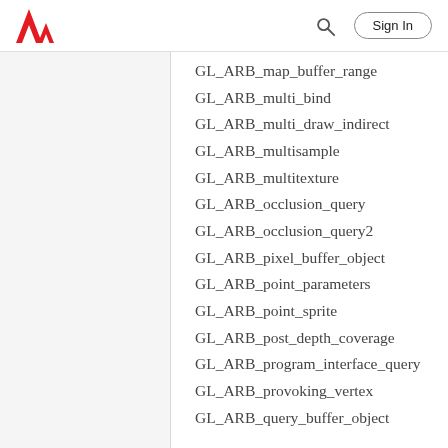Adobe — Sign In
GL_ARB_map_buffer_range
GL_ARB_multi_bind
GL_ARB_multi_draw_indirect
GL_ARB_multisample
GL_ARB_multitexture
GL_ARB_occlusion_query
GL_ARB_occlusion_query2
GL_ARB_pixel_buffer_object
GL_ARB_point_parameters
GL_ARB_point_sprite
GL_ARB_post_depth_coverage
GL_ARB_program_interface_query
GL_ARB_provoking_vertex
GL_ARB_query_buffer_object